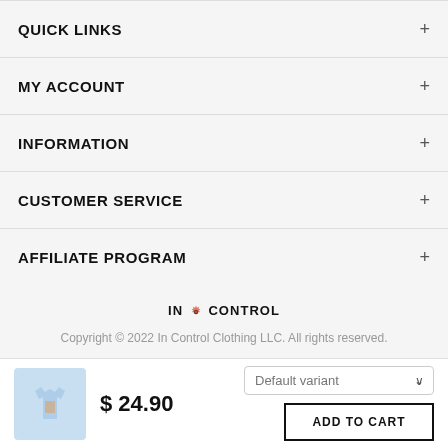QUICK LINKS
MY ACCOUNT
INFORMATION
CUSTOMER SERVICE
AFFILIATE PROGRAM
[Figure (logo): IN CONTROL brand logo with gear icon]
Copyright © 2022 In Control Clothing LLC. All rights reserved.
[Figure (photo): Light blue children's t-shirt product image]
$ 24.90
Default variant
ADD TO CART